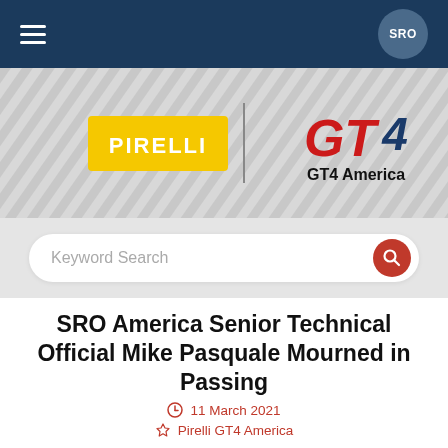SRO
[Figure (logo): Pirelli logo (yellow rectangle with white text PIRELLI) and GT4 America logo (stylized red and blue GT4 text with GT4 America below), separated by a vertical line, on a diagonal striped grey background]
Keyword Search
SRO America Senior Technical Official Mike Pasquale Mourned in Passing
11 March 2021
Pirelli GT4 America